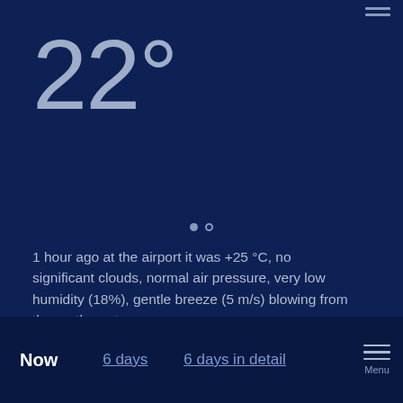22°
1 hour ago at the airport it was +25 °C, no significant clouds, normal air pressure, very low humidity (18%), gentle breeze (5 m/s) blowing from the north-east. See weather forecast
Now | 6 days | 6 days in detail | Menu